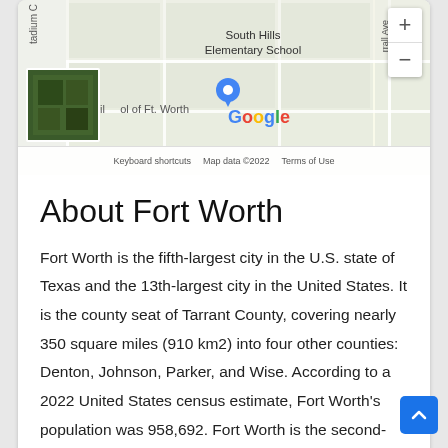[Figure (screenshot): Google Maps screenshot showing South Hills Elementary School area in Fort Worth, TX. Includes zoom controls (+/-), a satellite thumbnail in bottom-left, Google logo, and map attribution footer with 'Keyboard shortcuts', 'Map data ©2022', 'Terms of Use'.]
About Fort Worth
Fort Worth is the fifth-largest city in the U.S. state of Texas and the 13th-largest city in the United States. It is the county seat of Tarrant County, covering nearly 350 square miles (910 km2) into four other counties: Denton, Johnson, Parker, and Wise. According to a 2022 United States census estimate, Fort Worth's population was 958,692. Fort Worth is the second-largest city in the Dallas–Fort